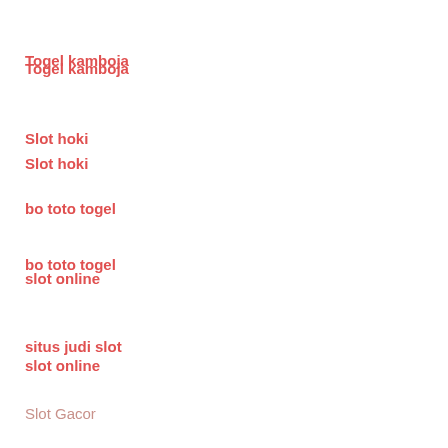Togel kamboja
Slot hoki
bo toto togel
slot online
situs judi slot
Slot Gacor
slot online